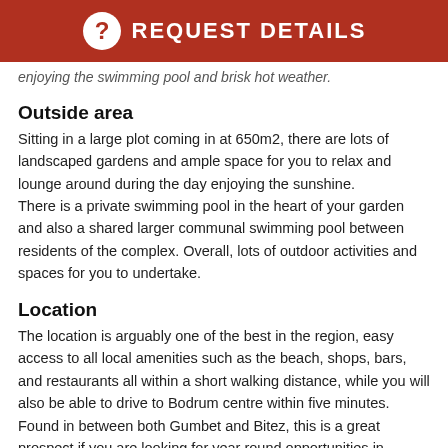REQUEST DETAILS
enjoying the swimming pool and brisk hot weather.
Outside area
Sitting in a large plot coming in at 650m2, there are lots of landscaped gardens and ample space for you to relax and lounge around during the day enjoying the sunshine.
There is a private swimming pool in the heart of your garden and also a shared larger communal swimming pool between residents of the complex. Overall, lots of outdoor activities and spaces for you to undertake.
Location
The location is arguably one of the best in the region, easy access to all local amenities such as the beach, shops, bars, and restaurants all within a short walking distance, while you will also be able to drive to Bodrum centre within five minutes.
Found in between both Gumbet and Bitez, this is a great prospect if you are looking for year round opportunities in Turkey. With very good bay views, a well managed complex, and great features